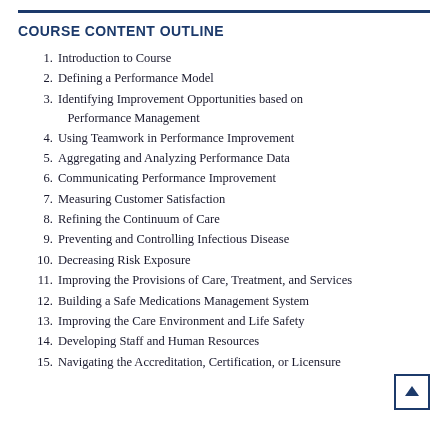COURSE CONTENT OUTLINE
1. Introduction to Course
2. Defining a Performance Model
3. Identifying Improvement Opportunities based on Performance Management
4. Using Teamwork in Performance Improvement
5. Aggregating and Analyzing Performance Data
6. Communicating Performance Improvement
7. Measuring Customer Satisfaction
8. Refining the Continuum of Care
9. Preventing and Controlling Infectious Disease
10. Decreasing Risk Exposure
11. Improving the Provisions of Care, Treatment, and Services
12. Building a Safe Medications Management System
13. Improving the Care Environment and Life Safety
14. Developing Staff and Human Resources
15. Navigating the Accreditation, Certification, or Licensure